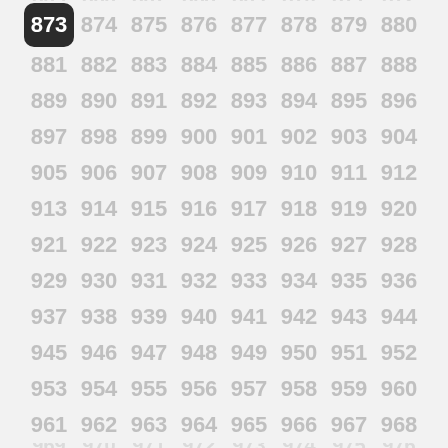Grid of numbers from 865 to 976, with 873 highlighted in a dark rounded box. Numbers displayed in 8 columns, rows partially visible at top and bottom.